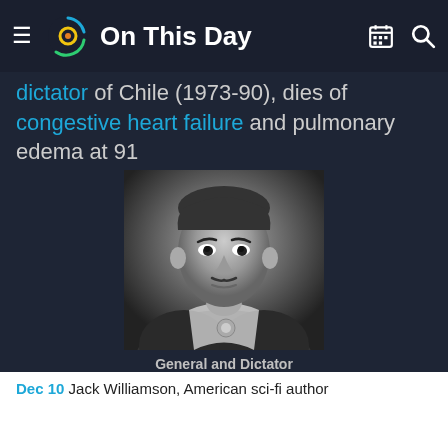On This Day
dictator of Chile (1973-90), dies of congestive heart failure and pulmonary edema at 91
[Figure (photo): Black and white portrait photo of Augusto Pinochet in military uniform with medals and sash]
General and Dictator
Augusto Pinochet
Dec 10 Jack Williamson, American sci-fi author